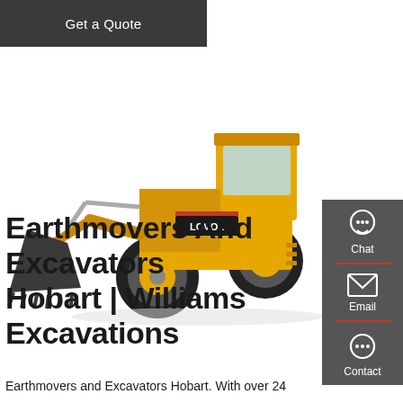Get a Quote
[Figure (photo): Yellow LOVOL wheel loader / front-end loader with large black bucket, photographed on white background]
Earthmovers And Excavators Hobart | Williams Excavations
Earthmovers and Excavators Hobart. With over 24